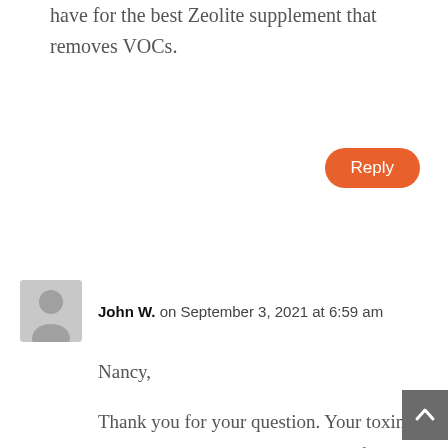have for the best Zeolite supplement that removes VOCs.
Reply
John W. on September 3, 2021 at 6:59 am
Nancy,
Thank you for your question. Your toxin situation is obviously very well defined by the location where you lived. Zeolite is used by many physicians for detox. It is a strong chelating agent and helps restore